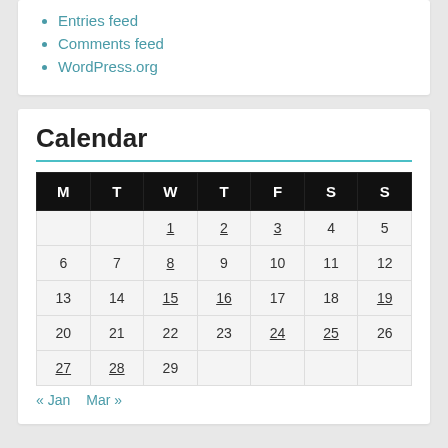Entries feed
Comments feed
WordPress.org
Calendar
| M | T | W | T | F | S | S |
| --- | --- | --- | --- | --- | --- | --- |
|  |  | 1 | 2 | 3 | 4 | 5 |
| 6 | 7 | 8 | 9 | 10 | 11 | 12 |
| 13 | 14 | 15 | 16 | 17 | 18 | 19 |
| 20 | 21 | 22 | 23 | 24 | 25 | 26 |
| 27 | 28 | 29 |  |  |  |  |
« Jan   Mar »